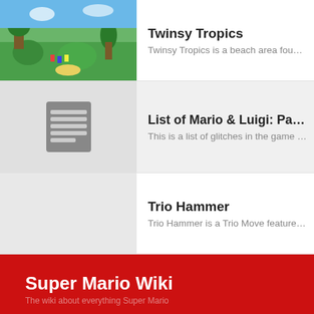Twinsy Tropics — Twinsy Tropics is a beach area found in Mario & Luigi: Pap...
List of Mario & Luigi: Paper Jam glitche — This is a list of glitches in the game Mario & Luigi: Paper J...
Trio Hammer — Trio Hammer is a Trio Move featured in Mario & Luigi: Pap...
Super Mario Wiki
Content is available under Attribution-ShareAlike 3.0 Unported unless otherwise noted.
Privacy policy  •  Desktop